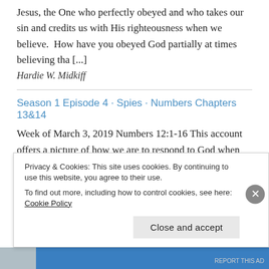Jesus, the One who perfectly obeyed and who takes our sin and credits us with His righteousness when we believe.  How have you obeyed God partially at times believing tha [...]
Hardie W. Midkiff
Season 1 Episode 4 · Spies · Numbers Chapters 13&14
Week of March 3, 2019 Numbers 12:1-16 This account offers a picture of how we are to respond to God when He reveals Himself to us. God’s self-revelation shows us two things: who He is and who we are. When we see God for who He is and what He has done, we can properly see ourselves for who we are.  In what ways does seeing the truth of God’s character humble [...]
Privacy & Cookies: This site uses cookies. By continuing to use this website, you agree to their use.
To find out more, including how to control cookies, see here: Cookie Policy
Close and accept